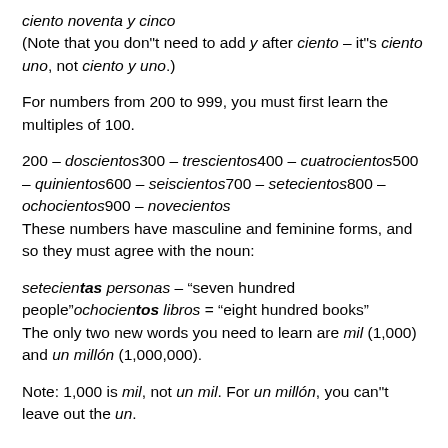ciento noventa y cinco
(Note that you don"t need to add y after ciento – it"s ciento uno, not ciento y uno.)
For numbers from 200 to 999, you must first learn the multiples of 100.
200 – doscientos300 – trescientos400 – cuatrocientos500 – quinientos600 – seiscientos700 – setecientos800 – ochocientos900 – novecientos
These numbers have masculine and feminine forms, and so they must agree with the noun:
setecientas personas – “seven hundred people”ochocientos libros = “eight hundred books”
The only two new words you need to learn are mil (1,000) and un millón (1,000,000).
Note: 1,000 is mil, not un mil. For un millón, you can"t leave out the un.